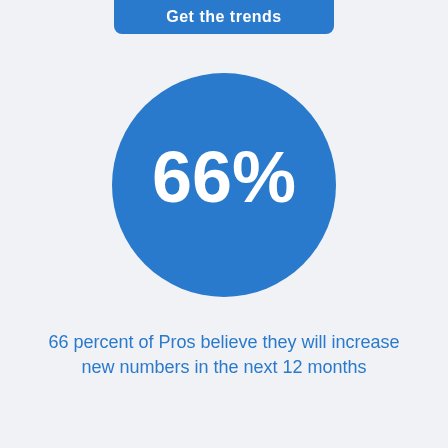Get the trends
[Figure (infographic): Large blue circle containing the text '66%' in large white bold font, representing a statistic about Pros' beliefs.]
66 percent of Pros believe they will increase new numbers in the next 12 months